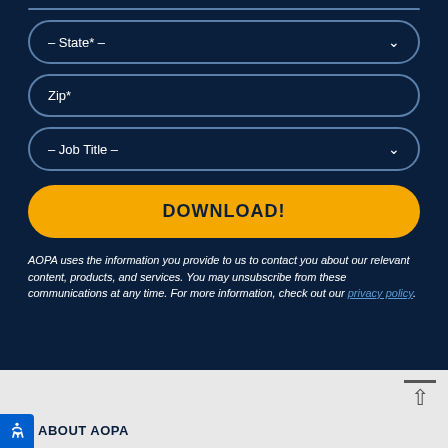– State* –
Zip*
– Job Title –
DOWNLOAD!
AOPA uses the information you provide to us to contact you about our relevant content, products, and services. You may unsubscribe from these communications at any time. For more information, check out our privacy policy.
ABOUT AOPA